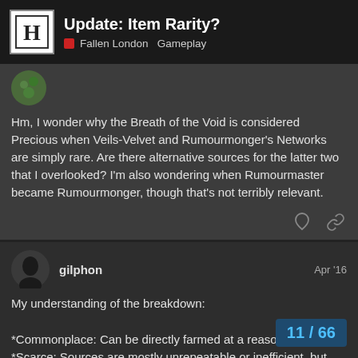Update: Item Rarity? — Fallen London Gameplay
Hm, I wonder why the Breath of the Void is considered Precious when Veils-Velvet and Rumourmonger's Networks are simply rare. Are there alternative sources for the latter two that I overlooked? I'm also wondering when Rumourmaster became Rumourmonger, though that's not terribly relevant.
gilphon — Apr '16
My understanding of the breakdown:

*Commonplace: Can be directly farmed at a reasonable EPA.
*Scarce: Sources are mostly unrepeatable or inefficient, but there are plenty of sources.
*Coveted: Not many sources, but the ones
11 / 66